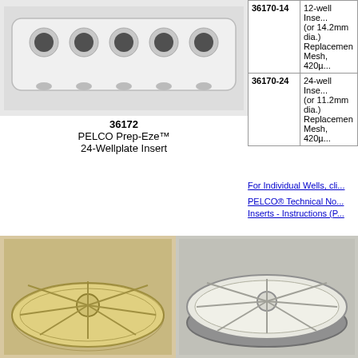[Figure (photo): PELCO Prep-Eze 24-Wellplate Insert product photo showing white rectangular insert with circular wells]
36172
PELCO Prep-Eze™
24-Wellplate Insert
| Cat. No. | Description |
| --- | --- |
| 36170-14 | 12-well Insert (or 14.2mm dia.) Replacement Mesh, 420µ... |
| 36170-24 | 24-well Insert (or 11.2mm dia.) Replacement Mesh, 420µ... |
For Individual Wells, cli...
PELCO® Technical No... Inserts - Instructions (P...
[Figure (photo): Wheel-shaped circular mesh insert on tan/gold background, left side]
[Figure (photo): Wheel-shaped circular mesh insert on gray background, right side]